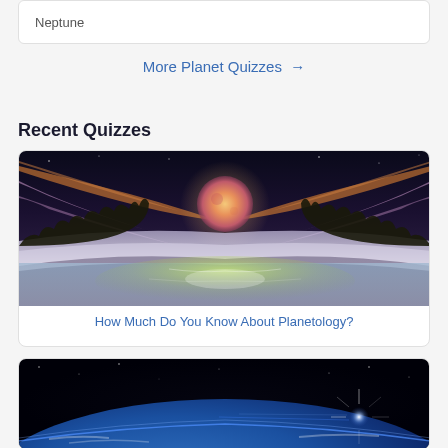Neptune
More Planet Quizzes →
Recent Quizzes
[Figure (photo): Fantasy landscape with a large orange-pink moon rising above misty hills with forests and colorful aurora-like clouds in the sky]
How Much Do You Know About Planetology?
[Figure (photo): View of Earth from space with a bright glowing light/star visible at the horizon, blue atmospheric glow along the limb]